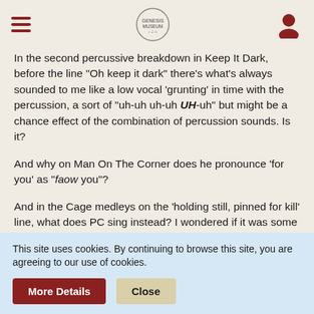[hamburger menu] [logo] [user icon]
In the second percussive breakdown in Keep It Dark, before the line "Oh keep it dark" there's what's always sounded to me like a low vocal 'grunting' in time with the percussion, a sort of "uh-uh uh-uh UH-uh" but might be a chance effect of the combination of percussion sounds. Is it?
And why on Man On The Corner does he pronounce 'for you' as "faow you"?
And in the Cage medleys on the 'holding still, pinned for kill' line, what does PC sing instead? I wondered if it was some in-joke as it sounds a bit like "[something] Phil, Chester [something]"
And also, wh - oh never mind I'll shut up now.
This site uses cookies. By continuing to browse this site, you are agreeing to our use of cookies.